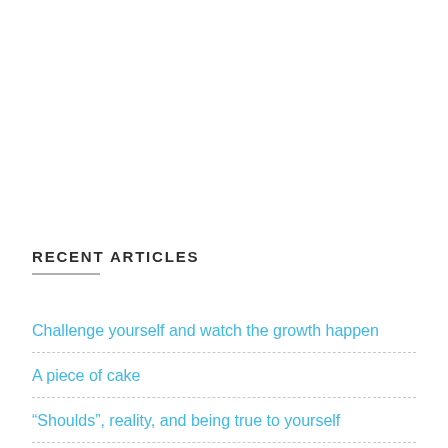RECENT ARTICLES
Challenge yourself and watch the growth happen
A piece of cake
“Shoulds”, reality, and being true to yourself